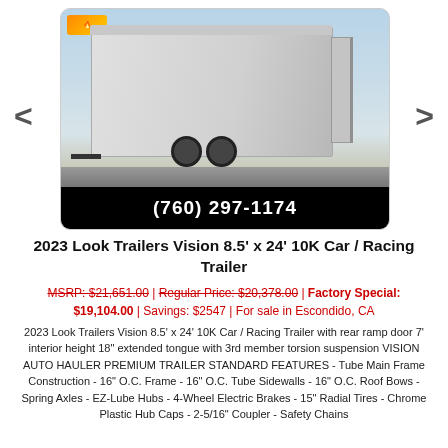[Figure (photo): White enclosed car/racing trailer parked in a lot, with phone number (760) 297-1174 displayed on a black banner at the bottom of the image.]
2023 Look Trailers Vision 8.5' x 24' 10K Car / Racing Trailer
MSRP: $21,651.00 | Regular Price: $20,378.00 | Factory Special: $19,104.00 | Savings: $2547 | For sale in Escondido, CA
2023 Look Trailers Vision 8.5' x 24' 10K Car / Racing Trailer with rear ramp door 7' interior height 18" extended tongue with 3rd member torsion suspension VISION AUTO HAULER PREMIUM TRAILER STANDARD FEATURES - Tube Main Frame Construction - 16" O.C. Frame - 16" O.C. Tube Sidewalls - 16" O.C. Roof Bows - Spring Axles - EZ-Lube Hubs - 4-Wheel Electric Brakes - 15" Radial Tires - Chrome Plastic Hub Caps - 2-5/16" Coupler - Safety Chains